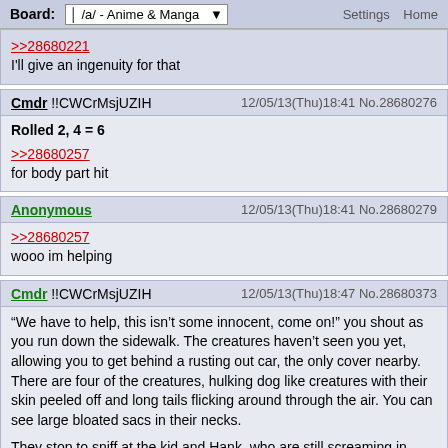Board: /a/ - Anime & Manga | Settings Home
>>28680221
I'll give an ingenuity for that
Cmdr !!CWCrMsjUZIH   12/05/13(Thu)18:41 No.28680276
Rolled 2, 4 = 6
>>28680257
for body part hit
Anonymous   12/05/13(Thu)18:41 No.28680279
>>28680257
wooo im helping
Cmdr !!CWCrMsjUZIH   12/05/13(Thu)18:47 No.28680373
“We have to help, this isn’t some innocent, come on!” you shout as you run down the sidewalk. The creatures haven’t seen you yet, allowing you to get behind a rusting out car, the only cover nearby. There are four of the creatures, hulking dog like creatures with their skin peeled off and long tails flicking around through the air. You can see large bloated sacs in their necks.

They stop to sniff at the kid and Hank, who are still screaming in pain as their flesh sloughs off their bones, boiling against the concrete and feeding them. Romero, you might be given a watch in the